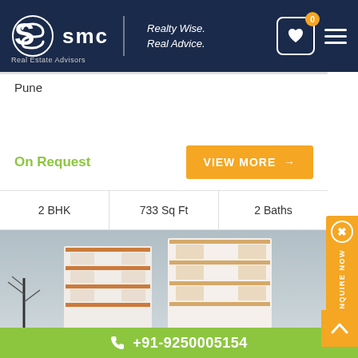[Figure (logo): SMC Real Estate Advisors logo with tagline 'Realty Wise. Real Advice.' on dark navy header]
Pune
On Request
VIEW MORE →
| Type | Area | Baths |
| --- | --- | --- |
| 2 BHK | 733 Sq Ft | 2 Baths |
[Figure (photo): Exterior photo of a modern residential apartment building with balconies, against a cloudy sky with a bare tree in the foreground]
+91-9250005154